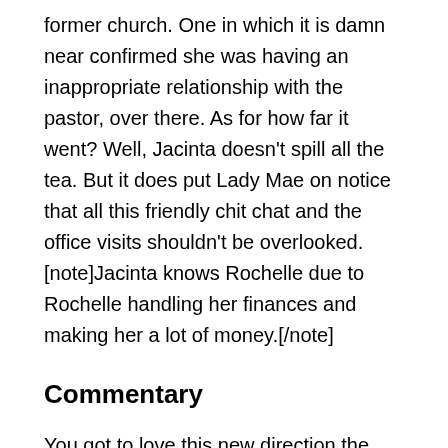former church. One in which it is damn near confirmed she was having an inappropriate relationship with the pastor, over there. As for how far it went? Well, Jacinta doesn't spill all the tea. But it does put Lady Mae on notice that all this friendly chit chat and the office visits shouldn't be overlooked. [note]Jacinta knows Rochelle due to Rochelle handling her finances and making her a lot of money.[/note]
Commentary
You got to love this new direction the show is going on. With Mac gone, there isn't a villain anymore. Now we are forced to see complicated people capable of good, especially preaching it, but who do actively participate in wicked and evil acts. With Basie, gambling is his sin, boastfulness as well, but he balances it out by seeming